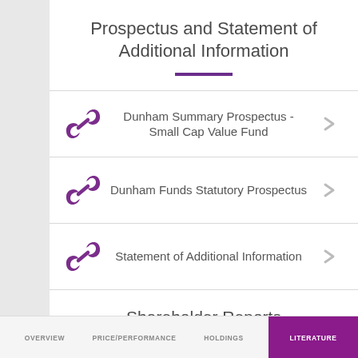Prospectus and Statement of Additional Information
Dunham Summary Prospectus - Small Cap Value Fund
Dunham Funds Statutory Prospectus
Statement of Additional Information
Shareholder Reports
OVERVIEW  PRICE/PERFORMANCE  HOLDINGS  LITERATURE